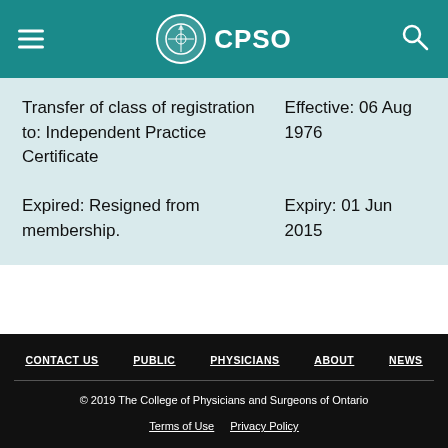CPSO
Transfer of class of registration to: Independent Practice Certificate	Effective: 06 Aug 1976
Expired: Resigned from membership.	Expiry: 01 Jun 2015
CONTACT US  PUBLIC  PHYSICIANS  ABOUT  NEWS
© 2019 The College of Physicians and Surgeons of Ontario
Terms of Use  Privacy Policy